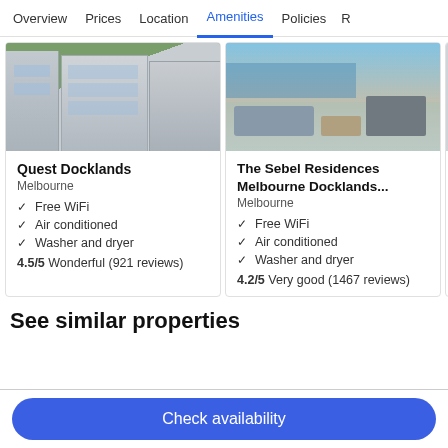Overview  Prices  Location  Amenities  Policies  R
[Figure (photo): Photo of Quest Docklands building exterior with trees]
Quest Docklands
Melbourne
Free WiFi
Air conditioned
Washer and dryer
4.5/5 Wonderful (921 reviews)
[Figure (photo): Photo of The Sebel Residences interior with marina view]
The Sebel Residences Melbourne Docklands...
Melbourne
Free WiFi
Air conditioned
Washer and dryer
4.2/5 Very good (1467 reviews)
See similar properties
Check availability